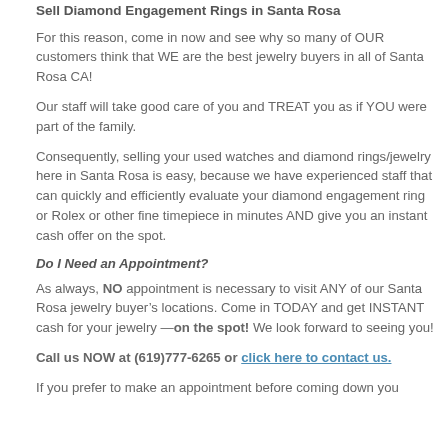Sell Diamond Engagement Rings in Santa Rosa
For this reason, come in now and see why so many of OUR customers think that WE are the best jewelry buyers in all of Santa Rosa CA!
Our staff will take good care of you and TREAT you as if YOU were part of the family.
Consequently, selling your used watches and diamond rings/jewelry here in Santa Rosa is easy, because we have experienced staff that can quickly and efficiently evaluate your diamond engagement ring or Rolex or other fine timepiece in minutes AND give you an instant cash offer on the spot.
Do I Need an Appointment?
As always, NO appointment is necessary to visit ANY of our Santa Rosa jewelry buyer’s locations. Come in TODAY and get INSTANT cash for your jewelry —on the spot! We look forward to seeing you!
Call us NOW at (619)777-6265 or click here to contact us.
If you prefer to make an appointment before coming down you